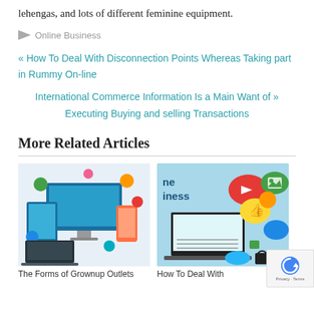lehengas, and lots of different feminine equipment.
Online Business
« How To Deal With Disconnection Points Whereas Taking part in Rummy On-line
International Commerce Information Is a Main Want of » Executing Buying and selling Transactions
More Related Articles
[Figure (photo): Digital devices (monitor, tablet, smartphone) surrounded by colorful app and social media icons on light background]
[Figure (photo): Laptop with social media icons (YouTube play button, like thumb, image, cloud) floating around it on blue background, with partial text 'ne iness']
The Forms of Grownup Outlets
How To Deal With